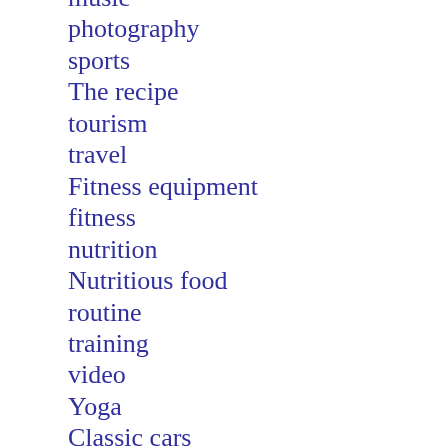music
photography
sports
The recipe
tourism
travel
Fitness equipment
fitness
nutrition
Nutritious food
routine
training
video
Yoga
Classic cars
evaluation
technique
transact
Classic cars